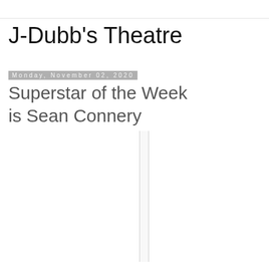J-Dubb's Theatre
Monday, November 02, 2020
Superstar of the Week is Sean Connery